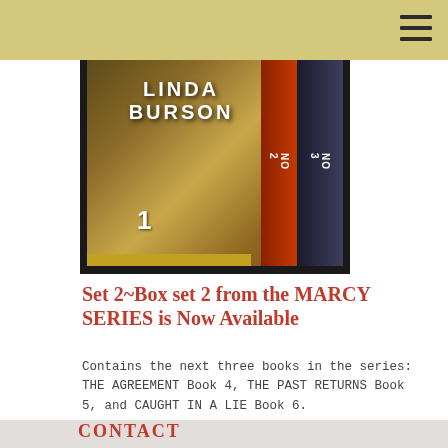[Figure (photo): Book box set image showing three books by Linda Burson labeled 1, 2, 3, set against a dark background. The front cover shows 'LINDA BURSON' in large white letters.]
Set 2~Box set 2 from the MARCY SERIES is Now Available
Contains the next three books in the series: THE AGREEMENT Book 4, THE PAST RETURNS Book 5, and CAUGHT IN A LIE Book 6.
CONTACT
The best way to contact Linda Burson for any questions...